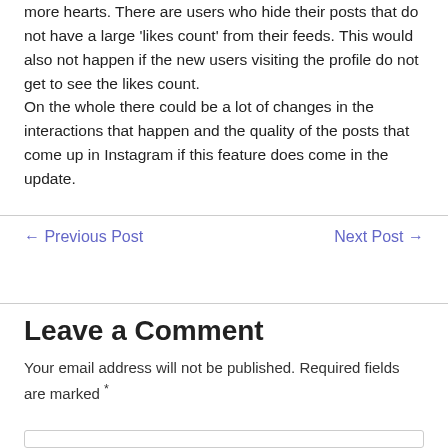more hearts. There are users who hide their posts that do not have a large 'likes count' from their feeds. This would also not happen if the new users visiting the profile do not get to see the likes count.
On the whole there could be a lot of changes in the interactions that happen and the quality of the posts that come up in Instagram if this feature does come in the update.
← Previous Post
Next Post →
Leave a Comment
Your email address will not be published. Required fields are marked *